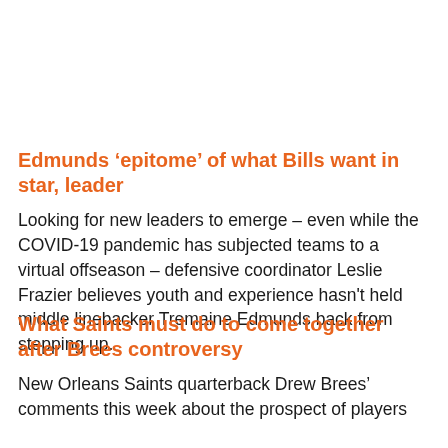Edmunds ‘epitome’ of what Bills want in star, leader
Looking for new leaders to emerge – even while the COVID-19 pandemic has subjected teams to a virtual offseason – defensive coordinator Leslie Frazier believes youth and experience hasn't held middle linebacker Tremaine Edmunds back from stepping up.
What Saints must do to come together after Brees controversy
New Orleans Saints quarterback Drew Brees’ comments this week about the prospect of players